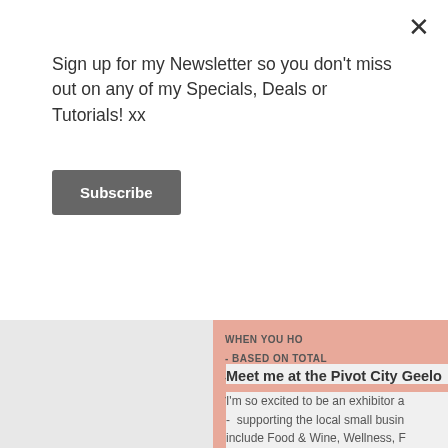×
Sign up for my Newsletter so you don't miss out on any of my Specials, Deals or Tutorials! xx
Subscribe
[Figure (infographic): Partial pink box with partially visible text: WHEN YOU HO, - BASED ON TOTAL, - EARN HOSTESS RE, - PLUS GET A BO]
Meet me at the Pivot City Geelo
I'm so excited to be an exhibitor a - supporting the local small busin include Food & Wine, Wellness, F & lots of other small businesses! donation to Vinnies at the door. F 10am - 4pm. Can't wait to see yo #GeelongExpo2018 #JessieHolto